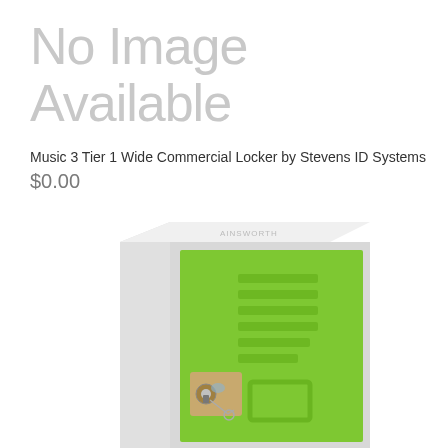No Image Available
Music 3 Tier 1 Wide Commercial Locker by Stevens ID Systems
$0.00
[Figure (photo): A metal school/commercial locker with a light gray body and bright green door. The door features ventilation slots, a combination lock mechanism with keys, and a handle bracket. The locker is shown at a slight angle, cropped to show the top portion of one single-tier unit.]